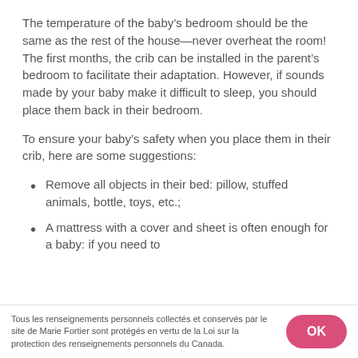The temperature of the baby’s bedroom should be the same as the rest of the house—never overheat the room! The first months, the crib can be installed in the parent’s bedroom to facilitate their adaptation. However, if sounds made by your baby make it difficult to sleep, you should place them back in their bedroom.
To ensure your baby’s safety when you place them in their crib, here are some suggestions:
Remove all objects in their bed: pillow, stuffed animals, bottle, toys, etc.;
A mattress with a cover and sheet is often enough for a baby: if you need to
Tous les renseignements personnels collectés et conservés par le site de Marie Fortier sont protégés en vertu de la Loi sur la protection des renseignements personnels du Canada.